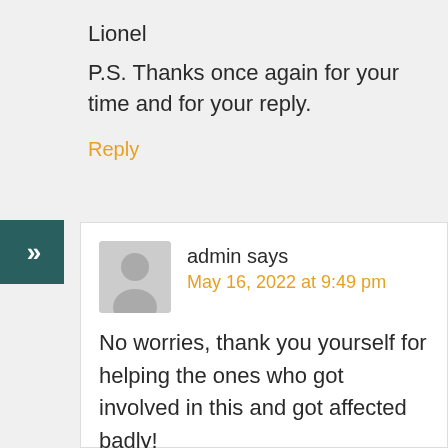Lionel
P.S. Thanks once again for your time and for your reply.
Reply
admin says
May 16, 2022 at 9:49 pm
No worries, thank you yourself for helping the ones who got involved in this and got affected badly!